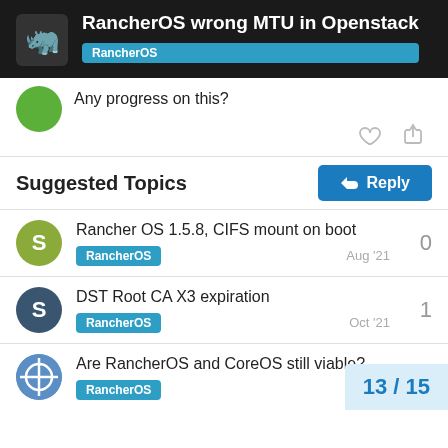RancherOS wrong MTU in Openstack — RancherOS
Any progress on this?
Suggested Topics
Rancher OS 1.5.8, CIFS mount on boot — RancherOS — Aug '21 — 0 replies
DST Root CA X3 expiration — RancherOS — Oct '21 — 1 reply
Are RancherOS and CoreOS still viable? — RancherOS — 4 replies
13 / 15